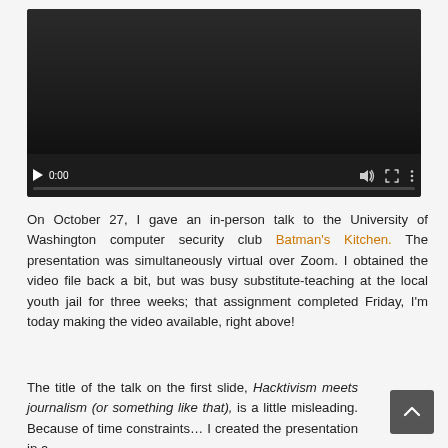[Figure (screenshot): Embedded video player showing a dark video frame with playback controls: play button, 0:00 timestamp, volume icon, fullscreen icon, and more options icon. Progress bar at bottom shows 0% progress.]
On October 27, I gave an in-person talk to the University of Washington computer security club Batman's Kitchen. The presentation was simultaneously virtual over Zoom. I obtained the video file back a bit, but was busy substitute-teaching at the local youth jail for three weeks; that assignment completed Friday, I'm today making the video available, right above!
The title of the talk on the first slide, Hacktivism meets journalism (or something like that), is a little misleading. Because of time constraints… I created the presentation in a